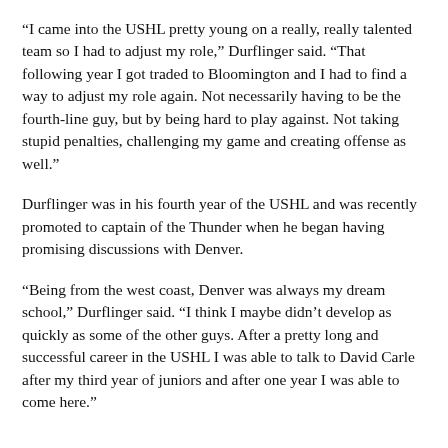“I came into the USHL pretty young on a really, really talented team so I had to adjust my role,” Durflinger said. “That following year I got traded to Bloomington and I had to find a way to adjust my role again. Not necessarily having to be the fourth-line guy, but by being hard to play against. Not taking stupid penalties, challenging my game and creating offense as well.”
Durflinger was in his fourth year of the USHL and was recently promoted to captain of the Thunder when he began having promising discussions with Denver.
“Being from the west coast, Denver was always my dream school,” Durflinger said. “I think I maybe didn’t develop as quickly as some of the other guys. After a pretty long and successful career in the USHL I was able to talk to David Carle after my third year of juniors and after one year I was able to come here.”